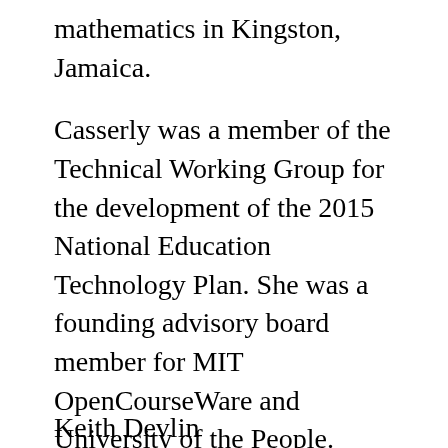mathematics in Kingston, Jamaica.
Casserly was a member of the Technical Working Group for the development of the 2015 National Education Technology Plan. She was a founding advisory board member for MIT OpenCourseWare and University of the People. Casserly earned her Ph.D. in the economics of education from Stanford University, BA in mathematics from Boston College, and was awarded an honorary doctorate from the Open University UK.
Keith Devlin